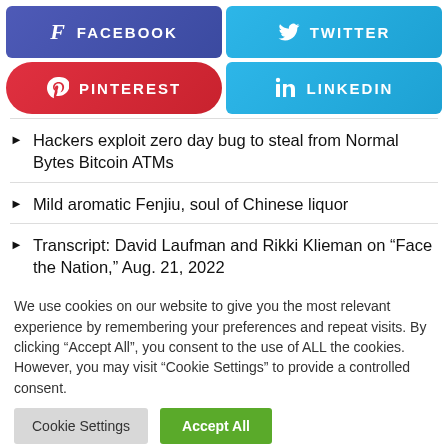[Figure (other): Social media share buttons: Facebook, Twitter, Pinterest, LinkedIn]
Hackers exploit zero day bug to steal from Normal Bytes Bitcoin ATMs
Mild aromatic Fenjiu, soul of Chinese liquor
Transcript: David Laufman and Rikki Klieman on "Face the Nation," Aug. 21, 2022
We use cookies on our website to give you the most relevant experience by remembering your preferences and repeat visits. By clicking "Accept All", you consent to the use of ALL the cookies. However, you may visit "Cookie Settings" to provide a controlled consent.